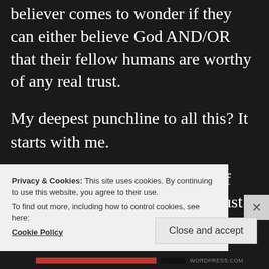believer comes to wonder if they can either believe God AND/OR that their fellow humans are worthy of any real trust.
My deepest punchline to all this? It starts with me.
It begins with you dear reader. If you do not learn to genuinely trust in and surrender to God even though
Privacy & Cookies: This site uses cookies. By continuing to use this website, you agree to their use.
To find out more, including how to control cookies, see here: Cookie Policy
Close and accept